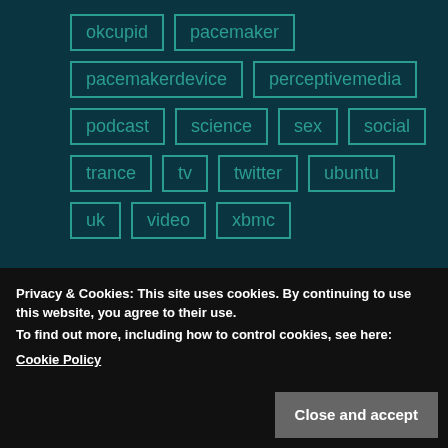okcupid
pacemaker
pacemakerdevice
perceptivemedia
podcast
science
sex
social
trance
tv
twitter
ubuntu
uk
video
xbmc
ABOUT ME
Privacy & Cookies: This site uses cookies. By continuing to use this website, you agree to their use.
To find out more, including how to control cookies, see here:
Cookie Policy
Close and accept
on Trakt TV and Diigo. Network professionally